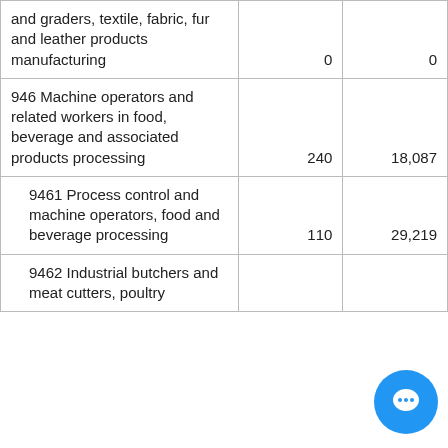| and graders, textile, fabric, fur and leather products manufacturing | 0 | 0 |
| 946 Machine operators and related workers in food, beverage and associated products processing | 240 | 18,087 |
| 9461 Process control and machine operators, food and beverage processing | 110 | 29,219 |
| 9462 Industrial butchers and meat cutters, poultry |  |  |